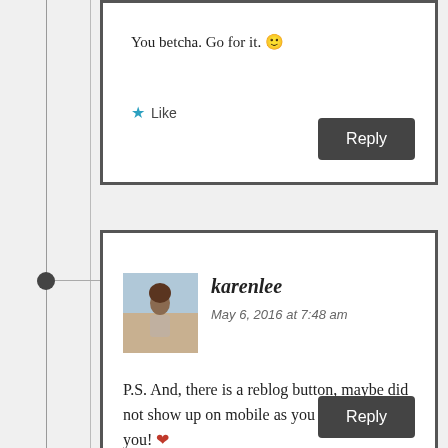You betcha. Go for it. 🙂
★ Like
Reply
karenlee
May 6, 2016 at 7:48 am
P.S. And, there is a reblog button, maybe did not show up on mobile as you said. Thank you! ❤
★ Liked by 1 person
Reply